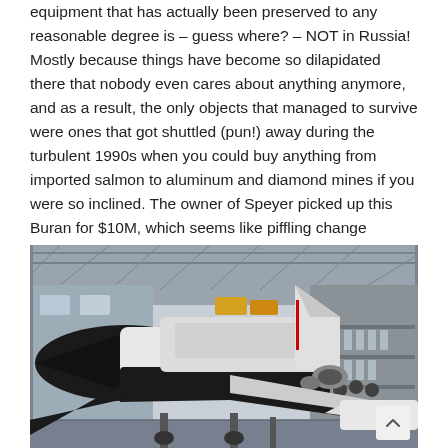equipment that has actually been preserved to any reasonable degree is – guess where? – NOT in Russia! Mostly because things have become so dilapidated there that nobody even cares about anything anymore, and as a result, the only objects that managed to survive were ones that got shuttled (pun!) away during the turbulent 1990s when you could buy anything from imported salmon to aluminum and diamond mines if you were so inclined. The owner of Speyer picked up this Buran for $10M, which seems like piffling change compared to the amount of pride that went into building it.
[Figure (photo): A Soviet Buran space shuttle on display inside a large industrial hangar museum (Speyer), viewed from the front-left angle showing the black nose and white fuselage with tail fin. The shuttle sits elevated on supports. The hangar has a steel truss roof, galleries on the right side, and another white aircraft visible in the background.]